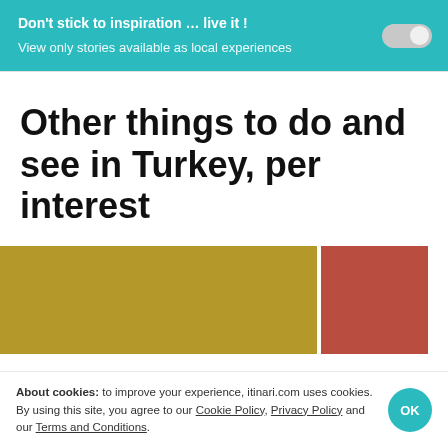Don't stick to inspiration … live it !
View only stories available as local experiences
Other things to do and see in Turkey, per interest
[Figure (photo): Olive/gold colored image block and red/terracotta image block side by side]
About cookies: to improve your experience, itinari.com uses cookies. By using this site, you agree to our Cookie Policy, Privacy Policy and our Terms and Conditions.